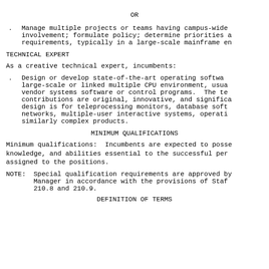OR
Manage multiple projects or teams having campus-wide involvement; formulate policy; determine priorities a requirements, typically in a large-scale mainframe en
TECHNICAL EXPERT
As a creative technical expert, incumbents:
Design or develop state-of-the-art operating software large-scale or linked multiple CPU environment, usual vendor systems software or control programs. The tec contributions are original, innovative, and significa design is for teleprocessing monitors, database softw networks, multiple-user interactive systems, operatin similarly complex products.
MINIMUM QUALIFICATIONS
Minimum qualifications: Incumbents are expected to posse knowledge, and abilities essential to the successful per assigned to the positions.
NOTE: Special qualification requirements are approved by Manager in accordance with the provisions of Staf 210.8 and 210.9.
DEFINITION OF TERMS